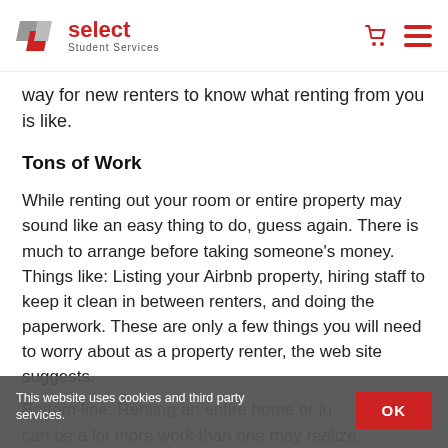select Student Services
way for new renters to know what renting from you is like.
Tons of Work
While renting out your room or entire property may sound like an easy thing to do, guess again. There is much to arrange before taking someone's money. Things like: Listing your Airbnb property, hiring staff to keep it clean in between renters, and doing the paperwork. These are only a few things you will need to worry about as a property renter, the web site suggests.
Bottom-line: Renting an entire home or ju... can be a lot more work than one may realize.
This website uses cookies and third party services.